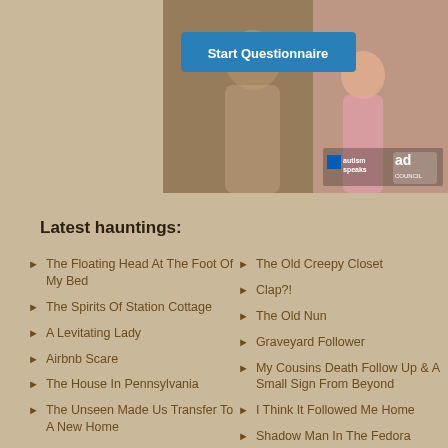[Figure (photo): Advertisement image showing two people (possibly parent and child) outdoors. Contains a 'Start Questionnaire' button overlay in blue, along with Autism Speaks and Ad Council logos.]
Latest hauntings:
The Floating Head At The Foot Of My Bed
The Spirits Of Station Cottage
A Levitating Lady
Airbnb Scare
The House In Pennsylvania
The Unseen Made Us Transfer To A New Home
Experiences In Okinawa
Nephew's Farewell
Not Alone-tragic Loss
The Old Creepy Closet
Clap?!
The Old Nun
Graveyard Follower
My Cousins Death Follow Up & A Small Sign From Beyond
I Think It Followed Me Home
Shadow Man In The Fedora
They're Just Guiding Us
The Old Packing Shed
A Scare In The Empty Flat